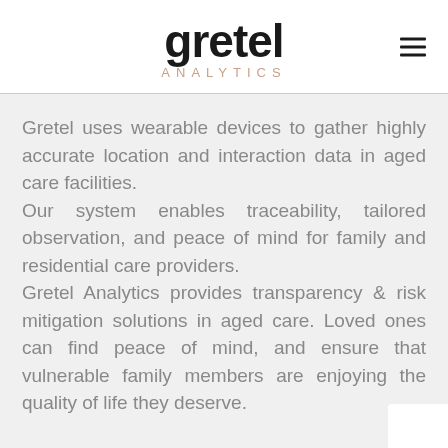gretel ANALYTICS
Gretel uses wearable devices to gather highly accurate location and interaction data in aged care facilities.
Our system enables traceability, tailored observation, and peace of mind for family and residential care providers.
Gretel Analytics provides transparency & risk mitigation solutions in aged care. Loved ones can find peace of mind, and ensure that vulnerable family members are enjoying the quality of life they deserve.